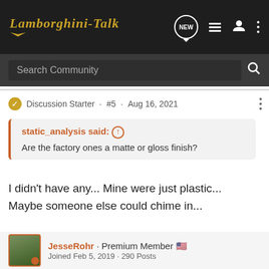Lamborghini-Talk
Search Community
Discussion Starter · #5 · Aug 16, 2021
static_analysis said: ↑
Are the factory ones a matte or gloss finish?
I didn't have any... Mine were just plastic... Maybe someone else could chime in...
JesseRohr · Premium Member 🇺🇸
Joined Feb 5, 2019 · 290 Posts